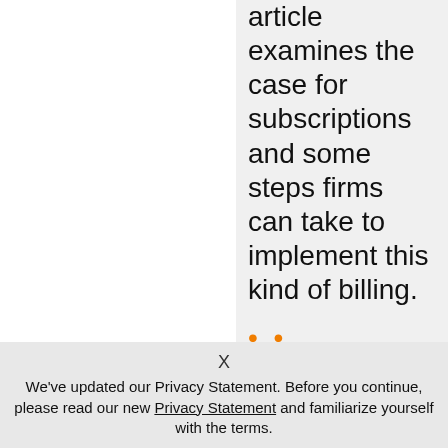article examines the case for subscriptions and some steps firms can take to implement this kind of billing.
Read More
...
X
We've updated our Privacy Statement. Before you continue, please read our new Privacy Statement and familiarize yourself with the terms.